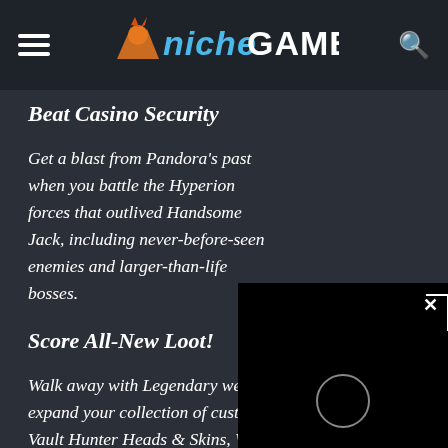Niche Gamer
Beat Casino Security
Get a blast from Pandora's past when you battle the Hyperion forces that outlived Handsome Jack, including never-before-seen enemies and larger-than-life bosses.
[Figure (other): Black video player popup overlay with X close button and circular play button indicator]
Score All-New Loot!
Walk away with Legendary weapons and gear and expand your collection of customization items with Vault Hunter Heads & Skins, Weapon Trinkets, an ECHO Device Skin, and new Emotes.